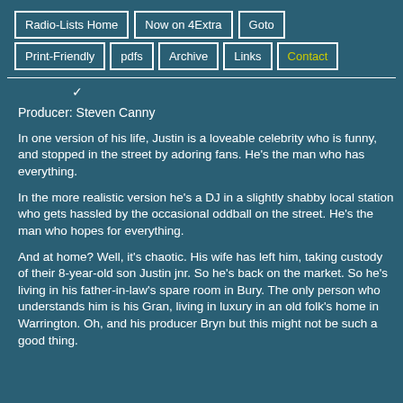Radio-Lists Home | Now on 4Extra | Goto | Print-Friendly | pdfs | Archive | Links | Contact
Producer: Steven Canny
In one version of his life, Justin is a loveable celebrity who is funny, and stopped in the street by adoring fans. He's the man who has everything.
In the more realistic version he's a DJ in a slightly shabby local station who gets hassled by the occasional oddball on the street. He's the man who hopes for everything.
And at home? Well, it's chaotic. His wife has left him, taking custody of their 8-year-old son Justin jnr. So he's back on the market. So he's not quite. He's living in his father-in-law's spare room in Bury. The only person who truly understands him is his Gran, living in luxury in an old folk's home in Warrington. Oh, and his producer Bryn but this might not be such a good thing.